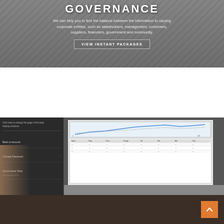GOVERNANCE
We can help you to find the balance between the information to varying corporate entities, such as stakeholders, management, customers, suppliers, financiers, government and community.
VIEW INSTANT PACKAGES
[Figure (screenshot): Mobile phone and laptop showing financial data dashboards with charts and tables]
[Figure (other): Scroll to top orange button with upward arrow]